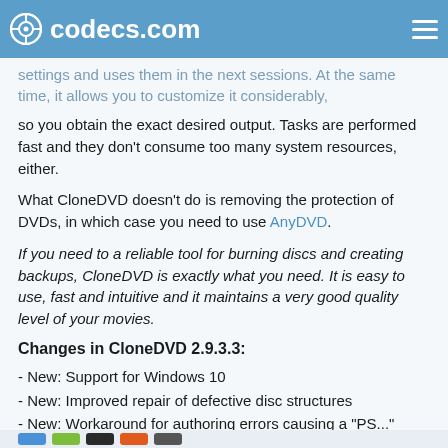codecs.com
settings and uses them in the next sessions. At the same time, it allows you to customize it considerably, so you obtain the exact desired output. Tasks are performed fast and they don't consume too many system resources, either.
What CloneDVD doesn't do is removing the protection of DVDs, in which case you need to use AnyDVD.
If you need to a reliable tool for burning discs and creating backups, CloneDVD is exactly what you need. It is easy to use, fast and intuitive and it maintains a very good quality level of your movies.
Changes in CloneDVD 2.9.3.3:
- New: Support for Windows 10
- New: Improved repair of defective disc structures
- New: Workaround for authoring errors causing a "PS..." error
- Fix: Mini DVD output size
- Some minor changes and improvements